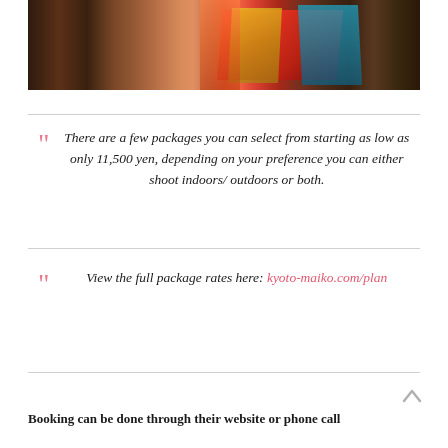[Figure (photo): Photo of a room with colorful kimonos laid out on a wooden floor, with plastic storage drawers visible on the sides]
There are a few packages you can select from starting as low as only 11,500 yen, depending on your preference you can either shoot indoors/ outdoors or both.
View the full package rates here: kyoto-maiko.com/plan
Booking can be done through their website or phone call